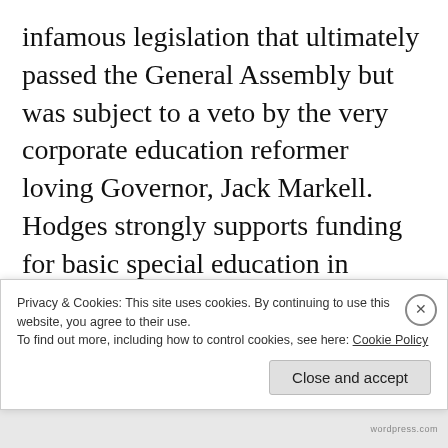infamous legislation that ultimately passed the General Assembly but was subject to a veto by the very corporate education reformer loving Governor, Jack Markell.  Hodges strongly supports funding for basic special education in Kindergarten to 3rd grade along with tons of common sense legislation.  I will miss her as President of Delaware PTA but I have no doubt I will continue to
Privacy & Cookies: This site uses cookies. By continuing to use this website, you agree to their use.
To find out more, including how to control cookies, see here: Cookie Policy
Close and accept